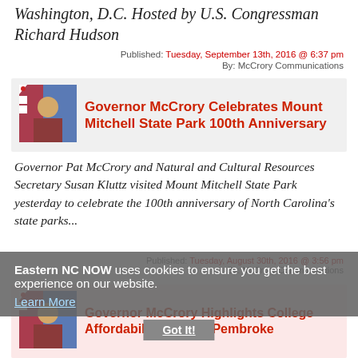Washington, D.C. Hosted by U.S. Congressman Richard Hudson
Published: Tuesday, September 13th, 2016 @ 6:37 pm
By: McCrory Communications
[Figure (photo): Governor McCrory headshot with NC flag background]
Governor McCrory Celebrates Mount Mitchell State Park 100th Anniversary
Governor Pat McCrory and Natural and Cultural Resources Secretary Susan Kluttz visited Mount Mitchell State Park yesterday to celebrate the 100th anniversary of North Carolina's state parks...
Published: Tuesday, August 30th, 2016 @ 3:56 pm
By: McCrory Communications
Eastern NC NOW uses cookies to ensure you get the best experience on our website. Learn More
[Figure (photo): Governor McCrory headshot with NC flag background]
Governor McCrory Highlights College Affordability At UNC-Pembroke
Governor Pat McCrory visited the campus of the...